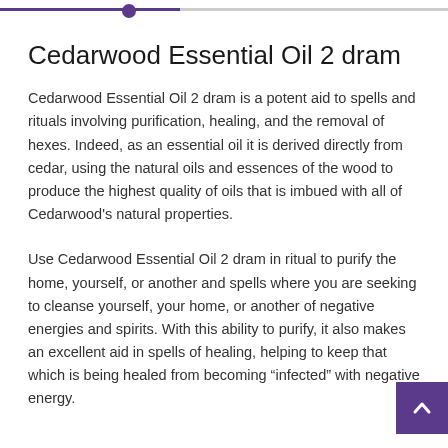Cedarwood Essential Oil 2 dram
Cedarwood Essential Oil 2 dram is a potent aid to spells and rituals involving purification, healing, and the removal of hexes. Indeed, as an essential oil it is derived directly from cedar, using the natural oils and essences of the wood to produce the highest quality of oils that is imbued with all of Cedarwood’s natural properties.
Use Cedarwood Essential Oil 2 dram in ritual to purify the home, yourself, or another and spells where you are seeking to cleanse yourself, your home, or another of negative energies and spirits. With this ability to purify, it also makes an excellent aid in spells of healing, helping to keep that which is being healed from becoming “infected” with negative energy.